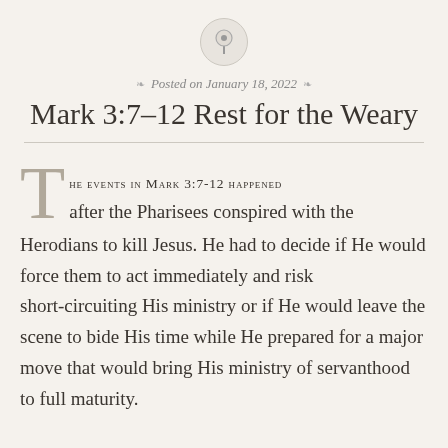[Figure (illustration): A pushpin icon inside a light gray circle]
Posted on January 18, 2022
Mark 3:7–12 Rest for the Weary
THE EVENTS IN MARK 3:7-12 HAPPENED after the Pharisees conspired with the Herodians to kill Jesus. He had to decide if He would force them to act immediately and risk short-circuiting His ministry or if He would leave the scene to bide His time while He prepared for a major move that would bring His ministry of servanthood to full maturity.